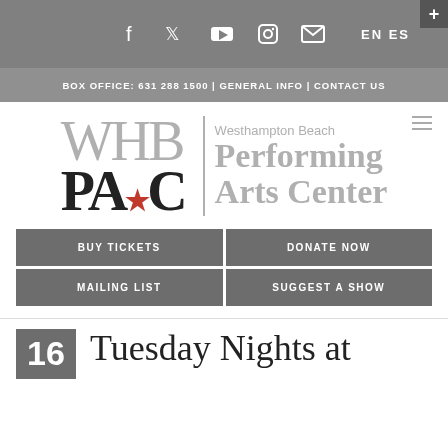Social icons: facebook, twitter, youtube, instagram, email | EN ES | +
BOX OFFICE: 631 288 1500 | GENERAL INFO | CONTACT US
[Figure (logo): WHB PAC logo with 'Westhampton Beach Performing Arts Center' text beside it]
BUY TICKETS
DONATE NOW
MAILING LIST
SUGGEST A SHOW
16  Tuesday Nights at